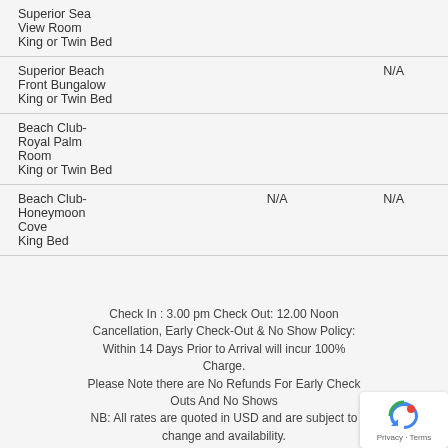| Room Type | Col2 | Col3 |
| --- | --- | --- |
| Superior Sea
View Room
King or Twin Bed |  |  |
| Superior Beach
Front Bungalow
King or Twin Bed |  | N/A |
| Beach Club-
Royal Palm
Room
King or Twin Bed |  |  |
| Beach Club-
Honeymoon
Cove
King Bed | N/A | N/A |
Check In : 3.00 pm Check Out: 12.00 Noon
Cancellation, Early Check-Out & No Show Policy:
Within 14 Days Prior to Arrival will incur 100% Charge.
Please Note there are No Refunds For Early Check Outs And No Shows
NB: All rates are quoted in USD and are subject to change and availability.